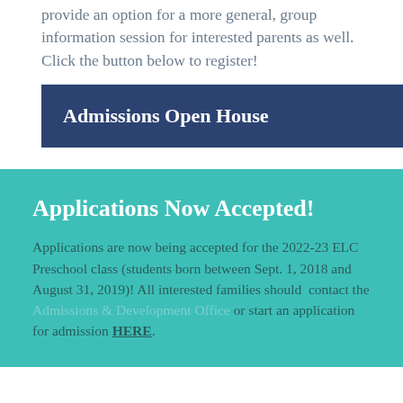Open Houses (both on campus and online) that provide an option for a more general, group information session for interested parents as well. Click the button below to register!
[Figure (other): Dark navy blue button labeled 'Admissions Open House']
Applications Now Accepted!
Applications are now being accepted for the 2022-23 ELC Preschool class (students born between Sept. 1, 2018 and August 31, 2019)! All interested families should contact the Admissions & Development Office or start an application for admission HERE.